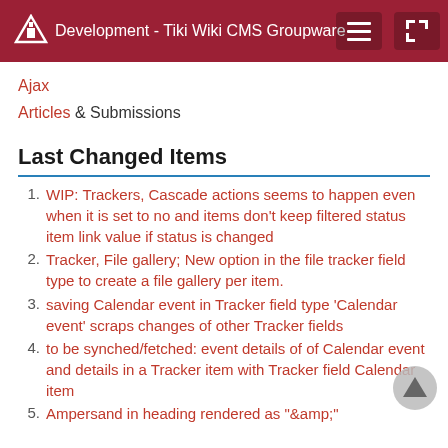Development - Tiki Wiki CMS Groupware
Ajax
Articles & Submissions
Last Changed Items
WIP: Trackers, Cascade actions seems to happen even when it is set to no and items don't keep filtered status item link value if status is changed
Tracker, File gallery; New option in the file tracker field type to create a file gallery per item.
saving Calendar event in Tracker field type 'Calendar event' scraps changes of other Tracker fields
to be synched/fetched: event details of of Calendar event and details in a Tracker item with Tracker field Calendar item
Ampersand in heading rendered as "&amp;"